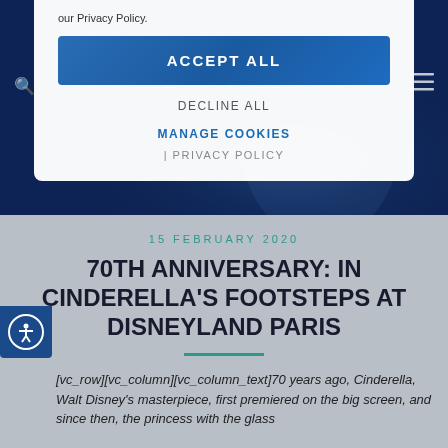our Privacy Policy.
[Figure (screenshot): Disney News website with ACCEPT ALL cookie consent button overlay on dark blue background with Cinderella silhouette]
ACCEPT ALL
DECLINE ALL
MANAGE COOKIES
| PRIVACY POLICY
15 FEBRUARY 2020
70TH ANNIVERSARY: IN CINDERELLA'S FOOTSTEPS AT DISNEYLAND PARIS
[vc_row][vc_column][vc_column_text]70 years ago, Cinderella, Walt Disney's masterpiece, first premiered on the big screen, and since then, the princess with the glass